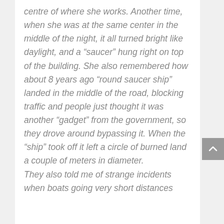centre of where she works. Another time, when she was at the same center in the middle of the night, it all turned bright like daylight, and a “saucer” hung right on top of the building. She also remembered how about 8 years ago “round saucer ship” landed in the middle of the road, blocking traffic and people just thought it was another “gadget” from the government, so they drove around bypassing it. When the “ship” took off it left a circle of burned land a couple of meters in diameter.
They also told me of strange incidents when boats going very short distances